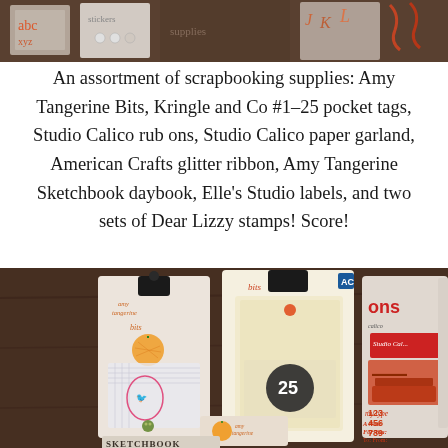[Figure (photo): Top portion of a photo showing scrapbooking supplies spread out on a dark wooden surface — visible are letter stickers, tags, and craft supplies]
An assortment of scrapbooking supplies: Amy Tangerine Bits, Kringle and Co #1-25 pocket tags, Studio Calico rub ons, Studio Calico paper garland, American Crafts glitter ribbon, Amy Tangerine Sketchbook daybook, Elle's Studio labels, and two sets of Dear Lizzy stamps! Score!
[Figure (photo): Photo of scrapbooking product packages laid on a dark wooden table: Amy Tangerine Bits package (left), Kringle and Co pocket tags package with number 25 tag visible (center), Studio Calico rub ons package with typewriter graphic and numbers 123/456/789 (right), and partial view of other packages. Amy Tangerine Sketchbook daybook label visible at bottom.]